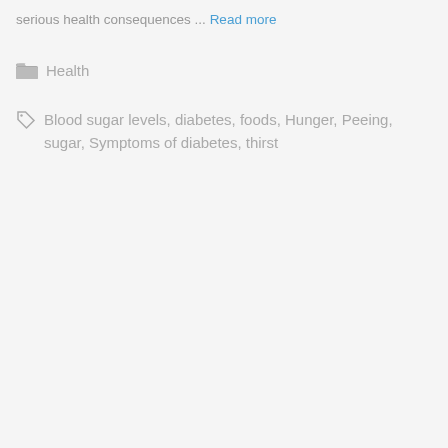serious health consequences ... Read more
Health
Blood sugar levels, diabetes, foods, Hunger, Peeing, sugar, Symptoms of diabetes, thirst